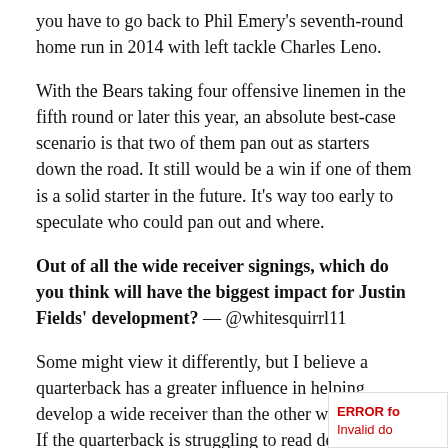you have to go back to Phil Emery's seventh-round home run in 2014 with left tackle Charles Leno.
With the Bears taking four offensive linemen in the fifth round or later this year, an absolute best-case scenario is that two of them pan out as starters down the road. It still would be a win if one of them is a solid starter in the future. It's way too early to speculate who could pan out and where.
Out of all the wide receiver signings, which do you think will have the biggest impact for Justin Fields' development? — @whitesquirrl11
Some might view it differently, but I believe a quarterback has a greater influence in helping develop a wide receiver than the other way around. If the quarterback is struggling to read defenses, unders coverages and process after the snap, I don't care now